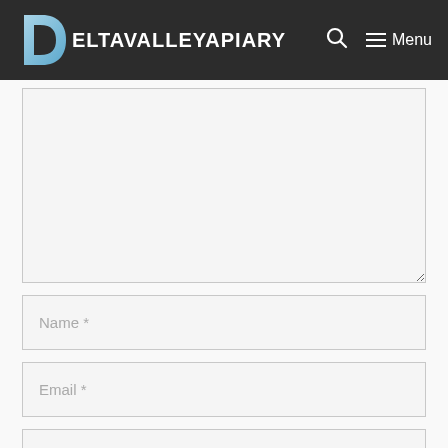DELTAVALLEYAPIARY — Menu
[Figure (screenshot): Website comment form with textarea and input fields for Name, Email, and Website]
Name *
Email *
Website